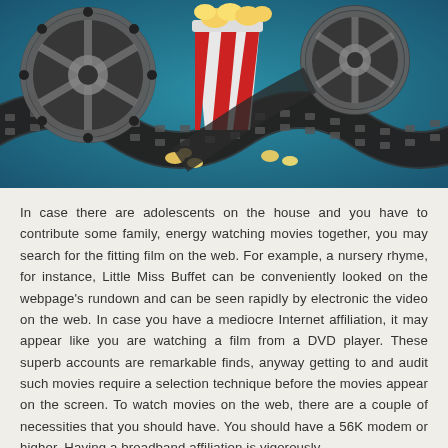[Figure (illustration): Movie-themed illustration with film reels, film strip, and a red-and-white striped popcorn bucket on a teal/blue background]
In case there are adolescents on the house and you have to contribute some family, energy watching movies together, you may search for the fitting film on the web. For example, a nursery rhyme, for instance, Little Miss Buffet can be conveniently looked on the webpage's rundown and can be seen rapidly by electronic the video on the web. In case you have a mediocre Internet affiliation, it may appear like you are watching a film from a DVD player. These superb accounts are remarkable finds, anyway getting to and audit such movies require a selection technique before the movies appear on the screen. To watch movies on the web, there are a couple of necessities that you should have. You should have a 56K modem or higher. Having a broadband affiliation is vigorously